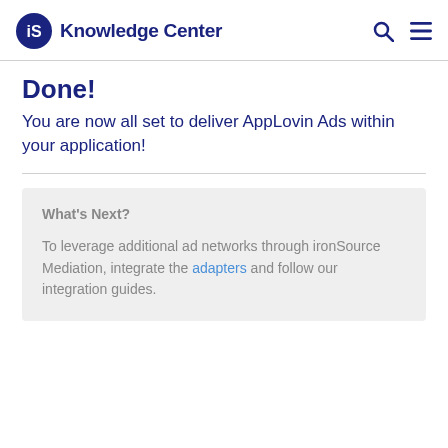iS Knowledge Center
Done!
You are now all set to deliver AppLovin Ads within your application!
What's Next?
To leverage additional ad networks through ironSource Mediation, integrate the adapters and follow our integration guides.